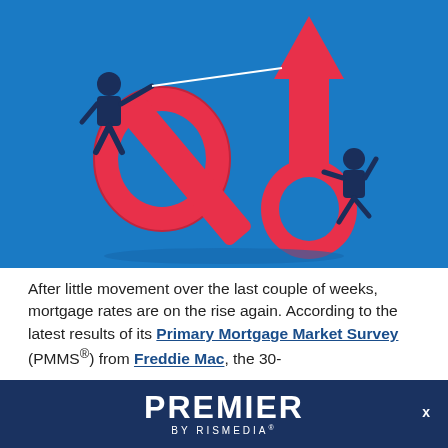[Figure (illustration): Blue background illustration of two businessmen with a large red percent sign and an upward red arrow. One man is pulling the arrow with a rope, another is pushing it up.]
After little movement over the last couple of weeks, mortgage rates are on the rise again. According to the latest results of its Primary Mortgage Market Survey (PMMS®) from Freddie Mac, the 30-
[Figure (logo): PREMIER by RisMedia logo in white text on dark navy blue background bar at the bottom of the page.]